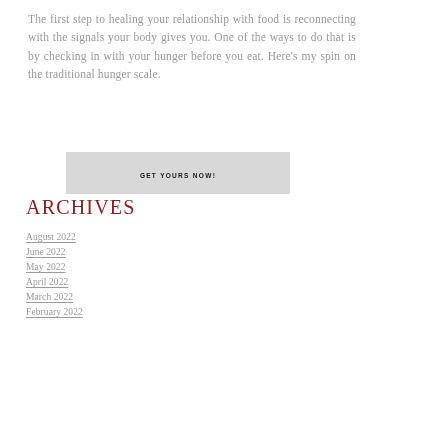The first step to healing your relationship with food is reconnecting with the signals your body gives you. One of the ways to do that is by checking in with your hunger before you eat. Here's my spin on the traditional hunger scale.
GET YOURS NOW!
ARCHIVES
August 2022
June 2022
May 2022
April 2022
March 2022
February 2022